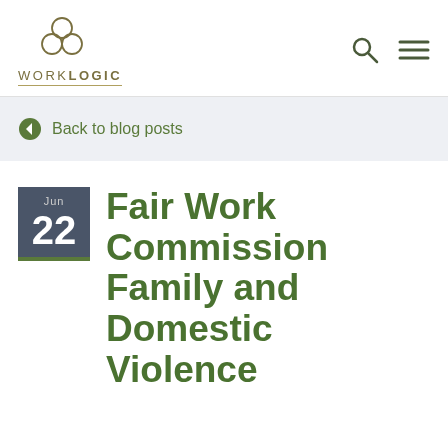[Figure (logo): WorkLogic logo with three overlapping circles above the text WORKLOGIC]
Back to blog posts
Fair Work Commission Family and Domestic Violence Leave Review